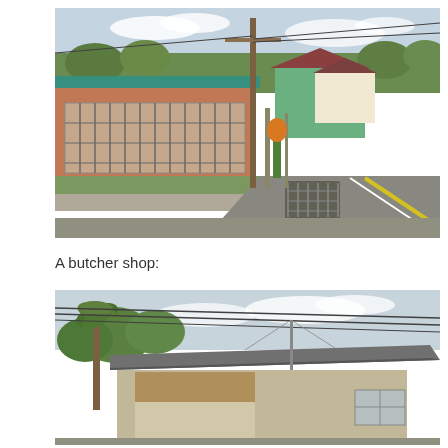[Figure (photo): Street view of a single-story house with brick facade, teal roof, barred windows, a utility pole in front, and a green building in the background along a paved road with yellow lines.]
A butcher shop:
[Figure (photo): Exterior view of a butcher shop building with a metal canopy roof, palm trees to the left, and power lines overhead, photographed from street level.]